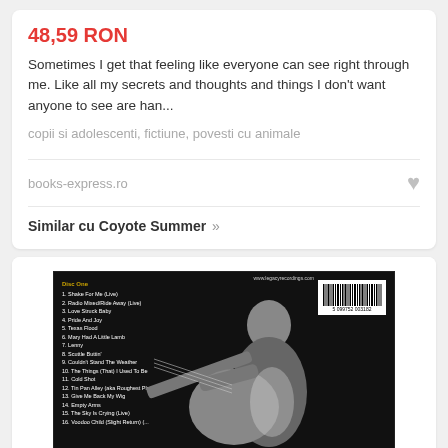48,59 RON
Sometimes I get that feeling like everyone can see right through me. Like all my secrets and thoughts and things I don't want anyone to see are han...
copii si adolescenti, fictiune, povesti cu animale
books-express.ro
Similar cu Coyote Summer »
[Figure (photo): Back cover of a music album featuring a black and white photo of a guitarist performing live, with a track listing on the left side and a barcode in the upper right corner. The tracklist includes Disc One tracks such as Shake For Me (Live), Radio Mixed/Ride Away (Live), Love Struck Baby, Pride And Joy, Texas Flood, Mary Had A Little Lamb, Lenny, Scuttle Buttin', Couldn't Stand The Weather, The Things (That) I Used To Be, Cold Shot, Tin Pan Alley (aka Roughest Place In Town), Give Me Back My Wig, Empty Arms, The Sky Is Crying (Live), Voodoo Child (Slight Return). Disc Two starts with Rude Mood. Website www.legacyrecordings.com visible at top.]